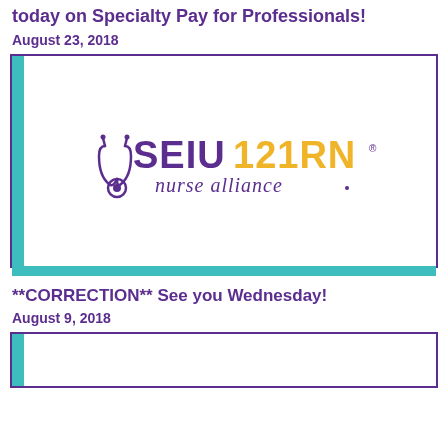today on Specialty Pay for Professionals!
August 23, 2018
[Figure (logo): SEIU 121RN Nurse Alliance logo — stethoscope icon, 'SEIU' in purple bold, '121RN' in gold/yellow bold, 'nurse alliance' in purple cursive script]
**CORRECTION** See you Wednesday!
August 9, 2018